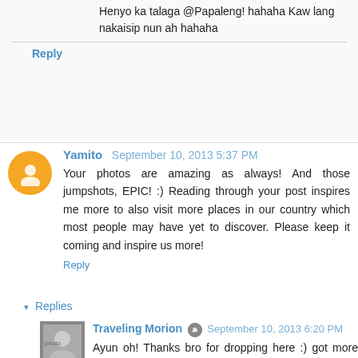Henyo ka talaga @Papaleng! hahaha Kaw lang nakaisip nun ah hahaha
Reply
Yamito  September 10, 2013 5:37 PM
Your photos are amazing as always! And those jumpshots, EPIC!  :) Reading through your post inspires me more to also visit more places in our country which most people may have yet to discover. Please keep it coming and inspire us more!
Reply
▾ Replies
Traveling Morion  September 10, 2013 6:20 PM
Ayun oh! Thanks bro for dropping here :) got more inspiration to shot.click.discover.explore because of these comments. Thanks!